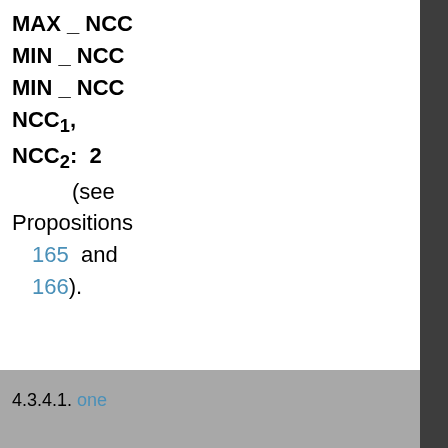MAX _ NCC
MIN _ NCC
MIN _ NCC
NCC1,
NCC2: 2
(see Propositions 165 and 166).
4.3.4.1. one